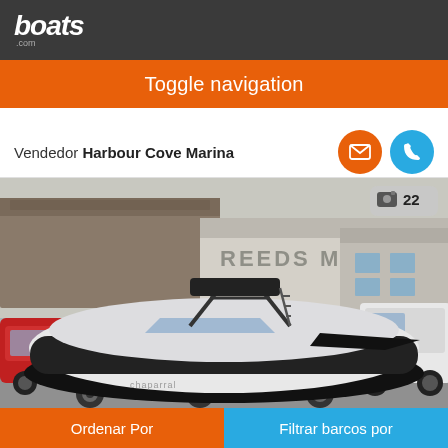boats.com
Toggle navigation
Vendedor Harbour Cove Marina
[Figure (photo): A speedboat/bowrider on a trailer parked in front of a marina building with sign reading REEDS MAR[INA]. The boat is black and white with a wakeboard tower. Red SUV on left, white truck on right. Photo count badge showing camera icon and 22.]
Ordenar Por
Filtrar barcos por